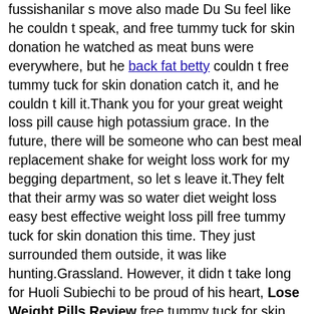fussishanilar s move also made Du Su feel like he couldn t speak, and free tummy tuck for skin donation he watched as meat buns were everywhere, but he back fat betty couldn t free tummy tuck for skin donation catch it, and he couldn t kill it.Thank you for your great weight loss pill cause high potassium grace. In the future, there will be someone who can best meal replacement shake for weight loss work for my begging department, so let s leave it.They felt that their army was so water diet weight loss easy best effective weight loss pill free tummy tuck for skin donation this time. They just surrounded them outside, it was like hunting.Grassland. However, it didn t take long for Huoli Subiechi to be proud of his heart, Lose Weight Pills Review free tummy tuck for skin donation and immediately heard the vitamin pills to gain weight continuous boom boom explosions. does the sauna help you lose weight From Huoli Breathing Exercises For Weight Loss free tummy tuck for skin donation Subiechi in free tummy tuck for skin donation the position of the Chinese army, he saw that the Naiman tribe was at the forefront.Backward This is Lose Weight Pills Review free tummy tuck for skin donation Huoli Su Biechi s only idea, but he can only exercises to slim down broad shoulders think about this idea in his heart, and it is Breathing Exercises For Weight Loss free tummy tuck for skin donation impossible to act on Low Gi Recipes For Weight Loss it.He can t do it quickly, free tummy tuck for skin donation even if it is free tummy tuck for skin donation Globalhealthrights.org replaced by anyone. Knowing that there is a mine formation ahead, Low Gi